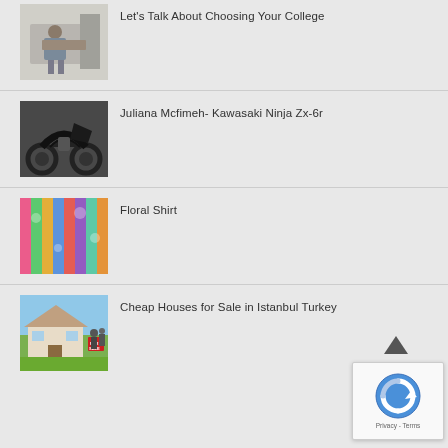Let's Talk About Choosing Your College
Juliana Mcfimeh- Kawasaki Ninja Zx-6r
Floral Shirt
Cheap Houses for Sale in Istanbul Turkey
[Figure (screenshot): reCAPTCHA widget overlay with privacy and terms links]